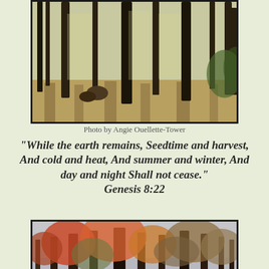[Figure (photo): Forest scene with tall dark tree trunks, dappled light on leaf-covered ground, autumn woodland]
Photo by Angie Ouellette-Tower
"While the earth remains, Seedtime and harvest, And cold and heat, And summer and winter, And day and night Shall not cease." Genesis 8:22
[Figure (photo): Autumn forest scene with colorful fall foliage trees, red and orange leaves, leaf-covered ground]